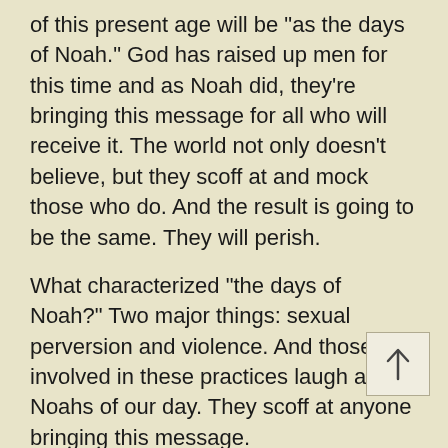of this present age will be "as the days of Noah." God has raised up men for this time and as Noah did, they're bringing this message for all who will receive it. The world not only doesn't believe, but they scoff at and mock those who do. And the result is going to be the same. They will perish.
What characterized "the days of Noah?" Two major things: sexual perversion and violence. And those involved in these practices laugh at the Noahs of our day. They scoff at anyone bringing this message.
"...knowing this first that SCOFFERS will come in the last days, walking according to their own lusts,